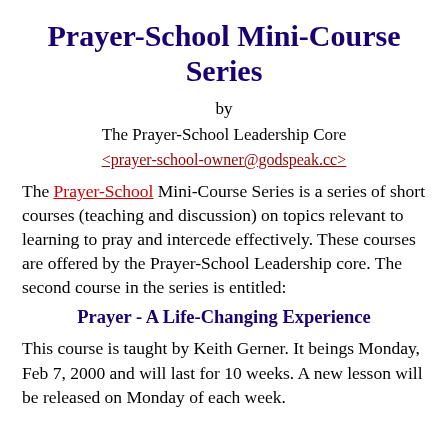Prayer-School Mini-Course Series
by
The Prayer-School Leadership Core
<prayer-school-owner@godspeak.cc>
The Prayer-School Mini-Course Series is a series of short courses (teaching and discussion) on topics relevant to learning to pray and intercede effectively. These courses are offered by the Prayer-School Leadership core. The second course in the series is entitled:
Prayer - A Life-Changing Experience
This course is taught by Keith Gerner. It beings Monday, Feb 7, 2000 and will last for 10 weeks. A new lesson will be released on Monday of each week.